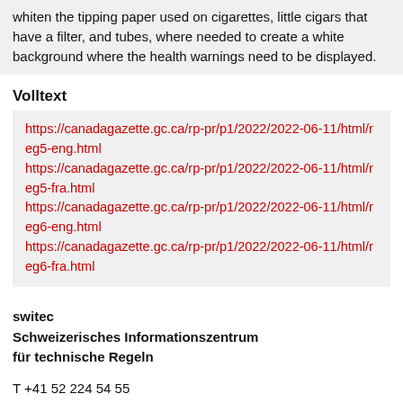whiten the tipping paper used on cigarettes, little cigars that have a filter, and tubes, where needed to create a white background where the health warnings need to be displayed.
Volltext
https://canadagazette.gc.ca/rp-pr/p1/2022/2022-06-11/html/reg5-eng.html
https://canadagazette.gc.ca/rp-pr/p1/2022/2022-06-11/html/reg5-fra.html
https://canadagazette.gc.ca/rp-pr/p1/2022/2022-06-11/html/reg6-eng.html
https://canadagazette.gc.ca/rp-pr/p1/2022/2022-06-11/html/reg6-fra.html
switec
Schweizerisches Informationszentrum für technische Regeln

T +41 52 224 54 55
info@switec.info